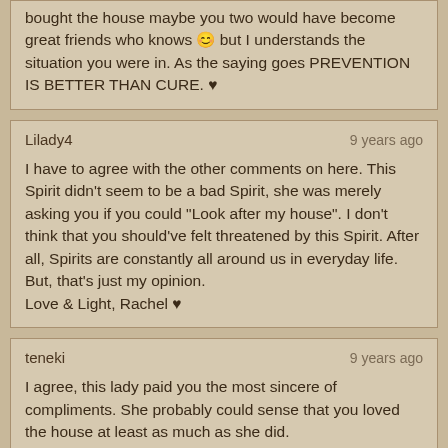bought the house maybe you two would have become great friends who knows 😊 but I understands the situation you were in. As the saying goes PREVENTION IS BETTER THAN CURE. ♥
Lilady4 — 9 years ago
I have to agree with the other comments on here. This Spirit didn't seem to be a bad Spirit, she was merely asking you if you could "Look after my house". I don't think that you should've felt threatened by this Spirit. After all, Spirits are constantly all around us in everyday life. But, that's just my opinion.
Love & Light, Rachel ♥
teneki — 9 years ago
I agree, this lady paid you the most sincere of compliments. She probably could sense that you loved the house at least as much as she did.

In a large way, it's too bad you didn't take the ghost up on the offer, you may have had a pleasant haunting experience afterwards. Yes, those do exist, it's not always a bad thing to be haunted.